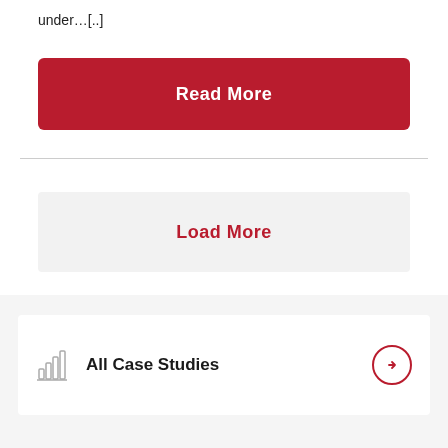under…[..]
Read More
Load More
All Case Studies